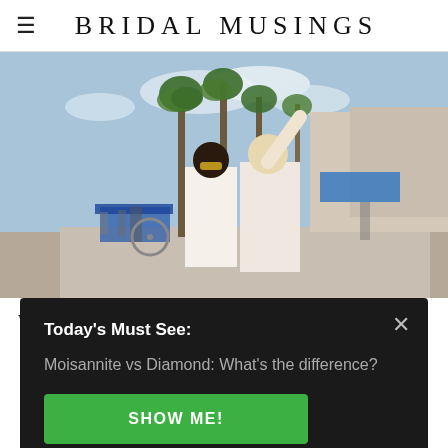BRIDAL MUSINGS
[Figure (photo): Two women in white outfits on a beachside boardwalk with palm trees, one raising her hand. Urban beach setting with shops and people in the background.]
We use cookies to optimize our website and our
Today's Must See:
Moisannite vs Diamond: What's the difference?
SHOW ME!